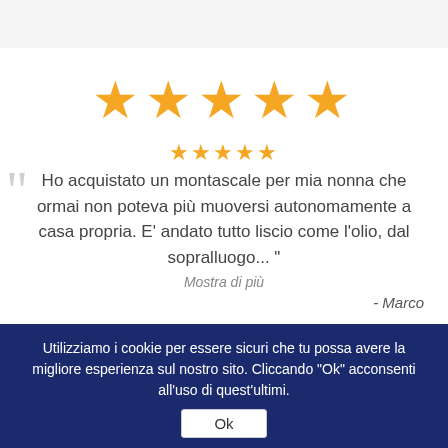[Figure (other): Five large golden stars rating display]
[Figure (other): Five small golden stars rating display]
Ho acquistato un montascale per mia nonna che ormai non poteva più muoversi autonomamente a casa propria. E' andato tutto liscio come l'olio, dal sopralluogo... "
Mostra di più
- Marco
[Figure (other): Five small golden stars rating display]
Avevo bisogno di un servoscala per la mia attività,
Utilizziamo i cookie per essere sicuri che tu possa avere la migliore esperienza sul nostro sito. Cliccando "Ok" acconsenti all'uso di quest'ultimi.
Ok